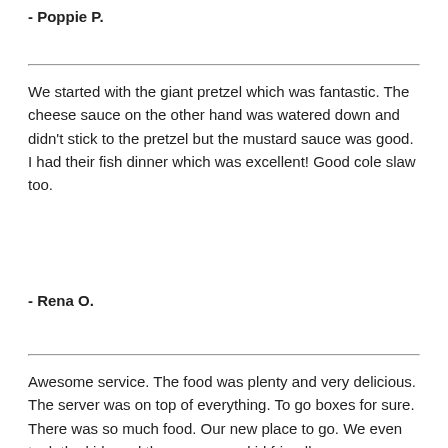- Poppie P.
We started with the giant pretzel which was fantastic. The cheese sauce on the other hand was watered down and didn't stick to the pretzel but the mustard sauce was good. I had their fish dinner which was excellent! Good cole slaw too.
- Rena O.
Awesome service. The food was plenty and very delicious. The server was on top of everything. To go boxes for sure. There was so much food. Our new place to go. We even took the kids and they were very kid friendly.